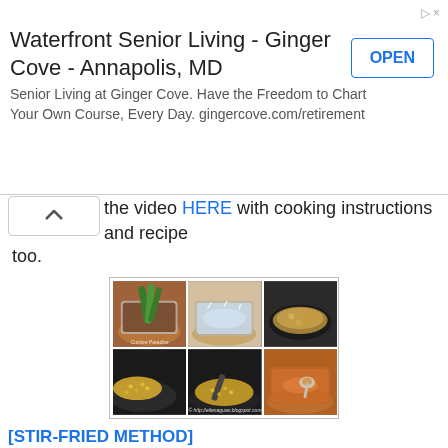[Figure (other): Advertisement banner for Waterfront Senior Living - Ginger Cove - Annapolis, MD with OPEN button]
the video HERE with cooking instructions and recipe too.
[Figure (photo): 6-panel cooking photo grid showing steps for stir-fried split green bean/mung bean dish: pandan leaves in pot, boiling water in pot, frying in wok, stir-frying yellow granules, more stir-frying, and serving in broth. Watermark: Cuisine Paradise / http://eilenaguan.blogspot.com]
[STIR-FRIED METHOD]
Ingredients: (serves 2 - 4)
100g Spilt Green Bean (hulled mung bean, 绿豆瓣)